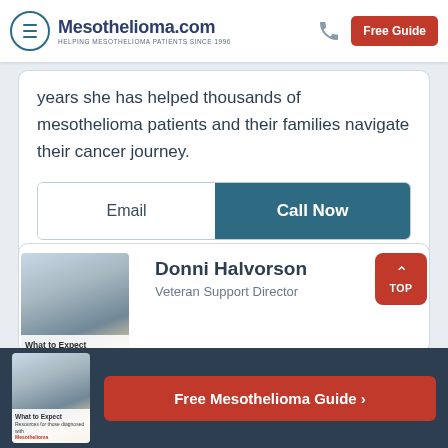Mesothelioma.com — HELPING MESOTHELIOMA PATIENTS SINCE 1996 | Free Guide
years she has helped thousands of mesothelioma patients and their families navigate their cancer journey.
Email | Call Now
Donni Halvorson
Veteran Support Director
[Figure (illustration): Book cover showing 'What to Expect — Resources for those diagnosed with Mesothelioma']
Free Mesothelioma Guide →